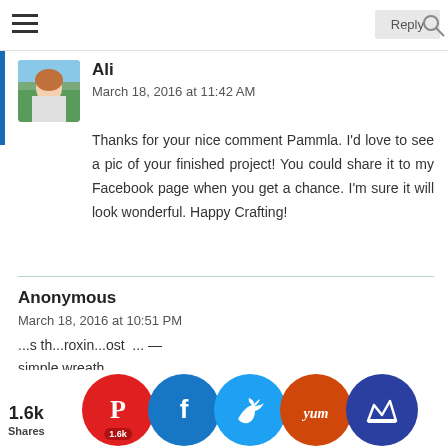navigation bar with hamburger menu and Reply button
Ali
March 18, 2016 at 11:42 AM
Thanks for your nice comment Pammla. I'd love to see a pic of your finished project! You could share it to my Facebook page when you get a chance. I'm sure it will look wonderful. Happy Crafting!
Anonymous
March 18, 2016 at 10:51 PM
...s th...roxin...ost ...— ...simple wreath...
[Figure (screenshot): Social share bar with Pinterest (1.6k), Facebook, Twitter, Yummly, and mystery crown icon circles at bottom of page. Share count: 1.6k Shares.]